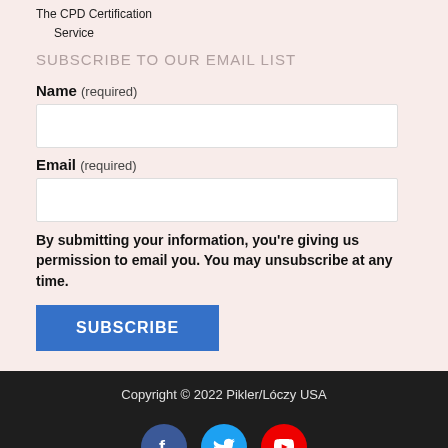[Figure (logo): The CPD Certification Service logo text]
SUBSCRIBE TO OUR EMAIL LIST
Name (required)
Email (required)
By submitting your information, you're giving us permission to email you. You may unsubscribe at any time.
SUBSCRIBE
Copyright © 2022 Pikler/Lóczy USA
[Figure (infographic): Social media icons: Facebook, Twitter, YouTube]